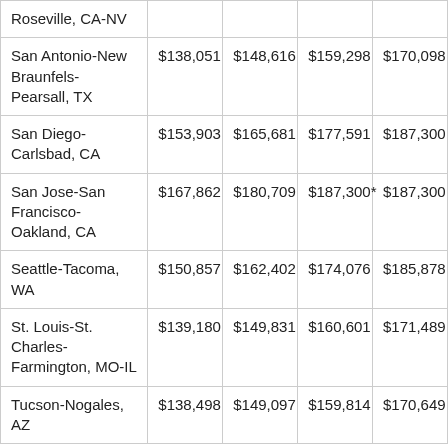| Roseville, CA-NV |  |  |  |  |
| San Antonio-New Braunfels-Pearsall, TX | $138,051 | $148,616 | $159,298 | $170,098 |
| San Diego-Carlsbad, CA | $153,903 | $165,681 | $177,591 | $187,300 |
| San Jose-San Francisco-Oakland, CA | $167,862 | $180,709 | $187,300* | $187,300 |
| Seattle-Tacoma, WA | $150,857 | $162,402 | $174,076 | $185,878 |
| St. Louis-St. Charles-Farmington, MO-IL | $139,180 | $149,831 | $160,601 | $171,489 |
| Tucson-Nogales, AZ | $138,498 | $149,097 | $159,814 | $170,649 |